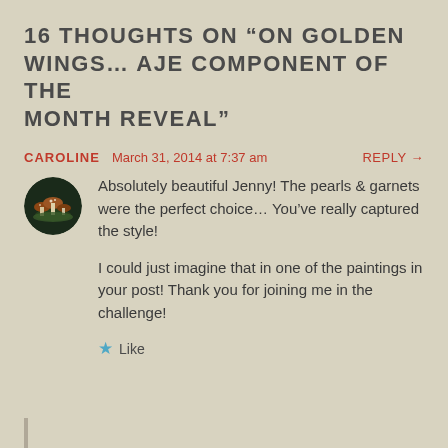16 THOUGHTS ON “ON GOLDEN WINGS… AJE COMPONENT OF THE MONTH REVEAL”
CAROLINE   March 31, 2014 at 7:37 am   REPLY →
[Figure (photo): Circular avatar image showing mushrooms on a dark background]
Absolutely beautiful Jenny! The pearls & garnets were the perfect choice… You’ve really captured the style!
I could just imagine that in one of the paintings in your post! Thank you for joining me in the challenge!
★ Like